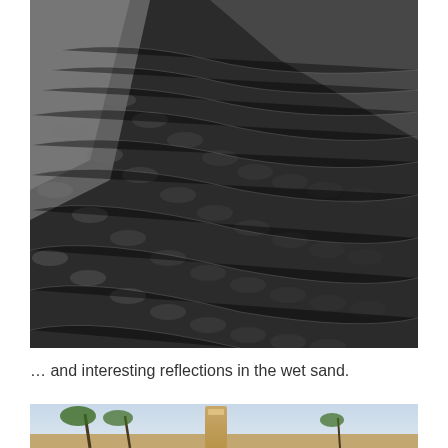[Figure (photo): Black and white aerial or close-up photograph of rippled wet sand on a beach, showing intricate wave-like patterns and textures in the sand with dark tones and light reflections.]
… and interesting reflections in the wet sand.
[Figure (photo): Partial view of a second photograph showing a sandy beach scene with palm trees and what appears to be a lighthouse or tower structure, in color with sky background.]